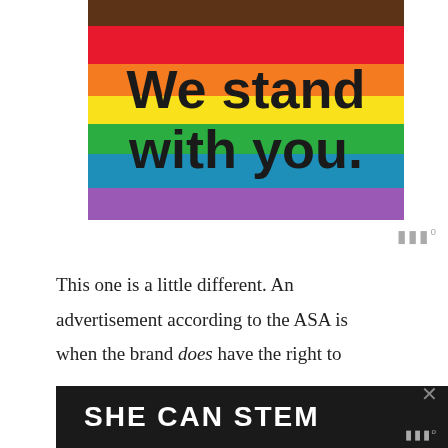[Figure (illustration): Pride rainbow flag with 'We stand with you.' text overlay. Stripes from top: dark brown, red, orange, yellow, green, two shades of blue, purple.]
This one is a little different. An advertisement according to the ASA is when the brand does have the right to
[Figure (screenshot): Black banner with white bold uppercase text: SHE CAN STEM]